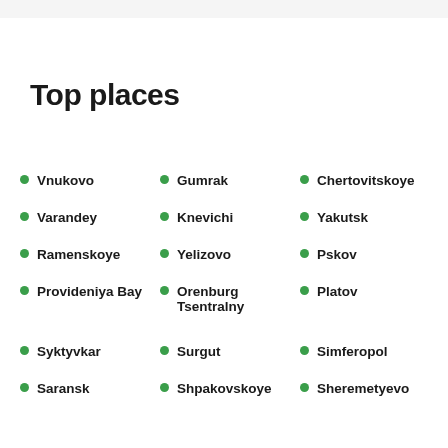Top places
Vnukovo
Gumrak
Chertovitskoye
Varandey
Knevichi
Yakutsk
Ramenskoye
Yelizovo
Pskov
Provideniya Bay
Orenburg Tsentralny
Platov
Syktyvkar
Surgut
Simferopol
Saransk
Shpakovskoye
Sheremetyevo